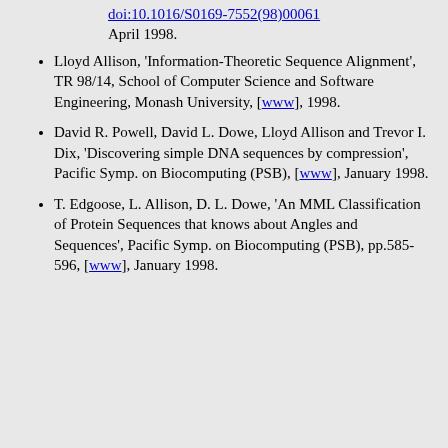doi:10.1016/S0169-7552(98)00061 April 1998.
Lloyd Allison, 'Information-Theoretic Sequence Alignment', TR 98/14, School of Computer Science and Software Engineering, Monash University, [www], 1998.
David R. Powell, David L. Dowe, Lloyd Allison and Trevor I. Dix, 'Discovering simple DNA sequences by compression', Pacific Symp. on Biocomputing (PSB), [www], January 1998.
T. Edgoose, L. Allison, D. L. Dowe, 'An MML Classification of Protein Sequences that knows about Angles and Sequences', Pacific Symp. on Biocomputing (PSB), pp.585-596, [www], January 1998.